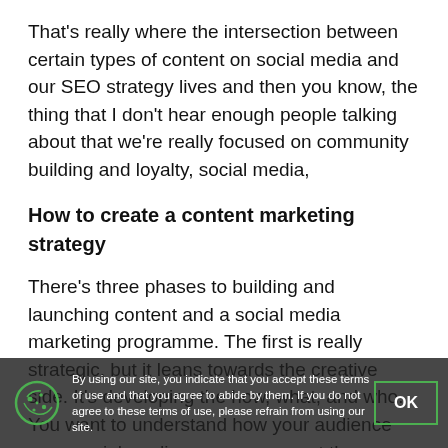That's really where the intersection between certain types of content on social media and our SEO strategy lives and then you know, the thing that I don't hear enough people talking about that we're really focused on community building and loyalty, social media,
How to create a content marketing strategy
There's three phases to building and launching content and a social media marketing programme. The first is really strategic, but it leans towards the creative side. It's developing the how, what, and who. You want to understand how your audience uses social media so you can meet them where they are.
The second phase is tactical. This is where you're saying 'how do we get the right message in the right place at the right time?' 'What platform should we be on?' 'How frequently should we post?' 'Are we doing reels?' 'Do we have a little bit of a budget to bypass the stupid algorithm and make sure that our message gets out there?'
Posting every single day is not the answer. The answer is wrapping tactics around a communication strategy that's really going to
By using our site, you indicate that you accept these terms of use and that you agree to abide by them. If you do not agree to these terms of use, please refrain from using our site.